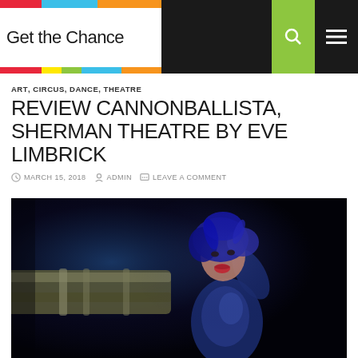Get the Chance
ART, CIRCUS, DANCE, THEATRE
REVIEW CANNONBALLISTA, SHERMAN THEATRE BY EVE LIMBRICK
MARCH 15, 2018  ADMIN  LEAVE A COMMENT
[Figure (photo): Performer in blue outfit and blue hair holding a large cylindrical prop (cannon), mouth open, dramatic stage lighting against dark background]